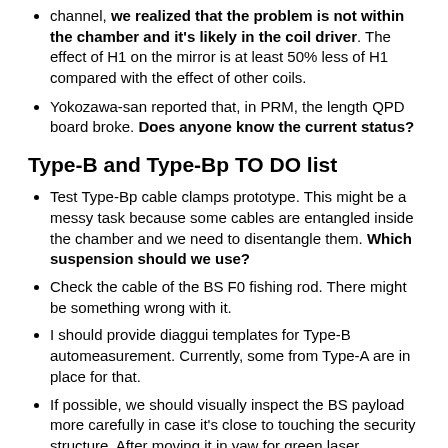channel, we realized that the problem is not within the chamber and it's likely in the coil driver. The effect of H1 on the mirror is at least 50% less of H1 compared with the effect of other coils.
Yokozawa-san reported that, in PRM, the length QPD board broke. Does anyone know the current status?
Type-B and Type-Bp TO DO list
Test Type-Bp cable clamps prototype. This might be a messy task because some cables are entangled inside the chamber and we need to disentangle them. Which suspension should we use?
Check the cable of the BS F0 fishing rod. There might be something wrong with it.
I should provide diaggui templates for Type-B automeasurement. Currently, some from Type-A are in place for that.
If possible, we should visually inspect the BS payload more carefully in case it's close to touching the security structure. After moving it in yaw for green laser alignment, Hirata-san only did a cursory